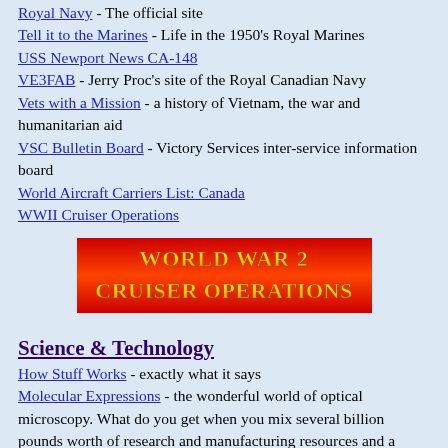Royal Navy - The official site
Tell it to the Marines - Life in the 1950's Royal Marines
USS Newport News CA-148
VE3FAB - Jerry Proc's site of the Royal Canadian Navy
Vets with a Mission - a history of Vietnam, the war and humanitarian aid
VSC Bulletin Board - Victory Services inter-service information board
World Aircraft Carriers List: Canada
WWII Cruiser Operations
[Figure (illustration): Banner image for World War 2 Cruiser Operations website with red and orange gradient background and gold text]
Science & Technology
How Stuff Works - exactly what it says
Molecular Expressions - the wonderful world of optical microscopy. What do you get when you mix several billion pounds worth of research and manufacturing resources and a techie with a sense of humour? - Find the section called Silicon Zoo!
National Institute of Standards & Technology